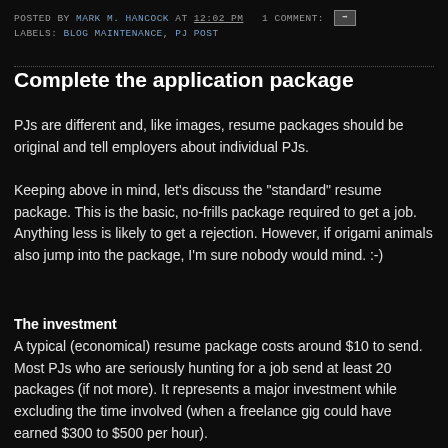POSTED BY MARK M. HANCOCK AT 12:02 PM   1 COMMENT:
LABELS: BLOG MAINTENANCE, PJ POST
Complete the application package
PJs are different and, like images, resume packages should be original and tell employers about individual PJs.
Keeping above in mind, let's discuss the "standard" resume package. This is the basic, no-frills package required to get a job. Anything less is likely to get a rejection. However, if origami animals also jump into the package, I'm sure nobody would mind. :-)
The investment
A typical (economical) resume package costs around $10 to send. Most PJs who are seriously hunting for a job send at least 20 packages (if not more). It represents a major investment while excluding the time involved (when a freelance gig could have earned $300 to $500 per hour).